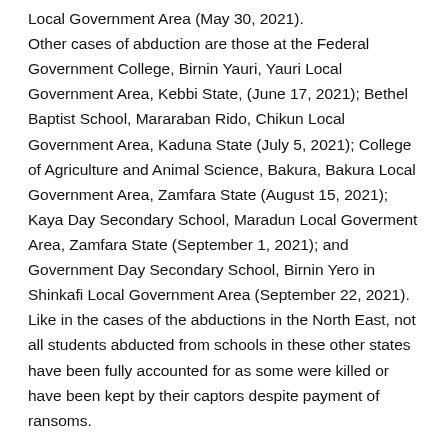Local Government Area (May 30, 2021).
Other cases of abduction are those at the Federal Government College, Birnin Yauri, Yauri Local Government Area, Kebbi State, (June 17, 2021); Bethel Baptist School, Mararaban Rido, Chikun Local Government Area, Kaduna State (July 5, 2021); College of Agriculture and Animal Science, Bakura, Bakura Local Government Area, Zamfara State (August 15, 2021); Kaya Day Secondary School, Maradun Local Goverment Area, Zamfara State (September 1, 2021); and Government Day Secondary School, Birnin Yero in Shinkafi Local Government Area (September 22, 2021).
Like in the cases of the abductions in the North East, not all students abducted from schools in these other states have been fully accounted for as some were killed or have been kept by their captors despite payment of ransoms.
4.0 Raided Schools, empty Schools: Apart from the presence of one, two or three armed policemen on sentry duties at